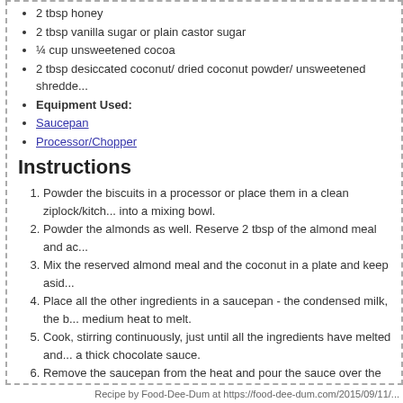2 tbsp honey
2 tbsp vanilla sugar or plain castor sugar
¼ cup unsweetened cocoa
2 tbsp desiccated coconut/ dried coconut powder/ unsweetened shredde...
Equipment Used:
Saucepan
Processor/Chopper
Instructions
1. Powder the biscuits in a processor or place them in a clean ziplock/kitch... into a mixing bowl.
2. Powder the almonds as well. Reserve 2 tbsp of the almond meal and ac...
3. Mix the reserved almond meal and the coconut in a plate and keep asid...
4. Place all the other ingredients in a saucepan - the condensed milk, the b... medium heat to melt.
5. Cook, stirring continuously, just until all the ingredients have melted and... a thick chocolate sauce.
6. Remove the saucepan from the heat and pour the sauce over the biscu... metal spoon.
7. Line a baking tray with butter paper or parchment paper.
8. Taking heaped tablespoons of the chocolate mixture, roll them into balls... plate to coat it and arrange on the baking tray.
9. Loosely cover with foil and place in the refrigerator to chill and set.
10. The chocolate balls are ready to consumed within 1 hour of setting. Ser... chocolates or crumble into a decadent ice cream sundae with more nuts...
11. The remaining chocolate balls, if any, should be stored in an airtight jar...
Recipe by Food-Dee-Dum at https://food-dee-dum.com/2015/09/11/...